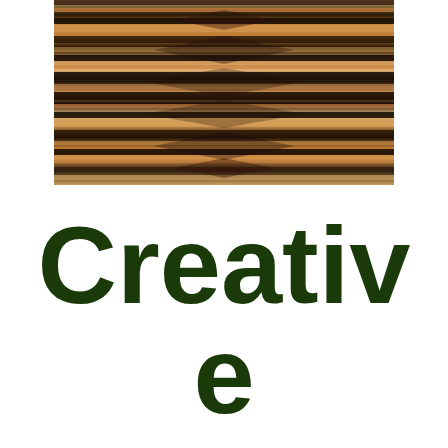[Figure (photo): A symmetrical mirrored photograph of tiger fur or feather pattern with horizontal striped texture in brown, orange, black and cream tones.]
Creative